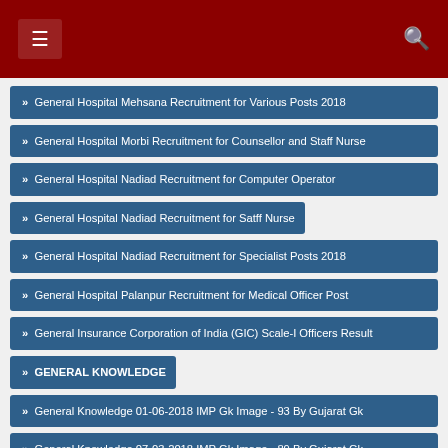≡ [header bar] 🔍
» General Hospital Mehsana Recruitment for Various Posts 2018
» General Hospital Morbi Recruitment for Counsellor and Staff Nurse
» General Hospital Nadiad Recruitment for Computer Operator
» General Hospital Nadiad Recruitment for Satff Nurse
» General Hospital Nadiad Recruitment for Specialist Posts 2018
» General Hospital Palanpur Recruitment for Medical Officer Post
» General Insurance Corporation of India (GIC) Scale-I Officers Result
» GENERAL KNOWLEDGE
» General Knowledge 01-06-2018 IMP Gk Image - 93 By Gujarat Gk
» General Knowledge 07-03-2018 IMP Gk Image - 89 By Gujarat Gk
» General Knowledge 09-10-2018 IMP Gk Image - 97 By Gujarat Gk
» General Knowledge 11-03-2018 IMP Gk Image - 90 By Gujarat Gk